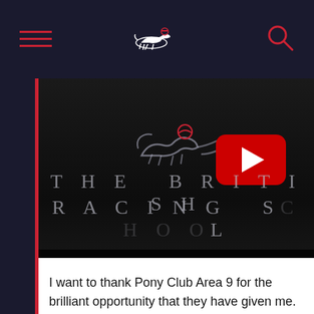Navigation bar with hamburger menu, British Racing School logo, and search icon
[Figure (screenshot): YouTube video thumbnail showing The British Racing School logo with a YouTube play button overlay and 'Watch on YouTube' strip at the bottom. Dark background with white floral decorations partially visible. Text reads 'THE BRITISH RACING SCHOOL'.]
I want to thank Pony Club Area 9 for the brilliant opportunity that they have given me.  Also, Jackie